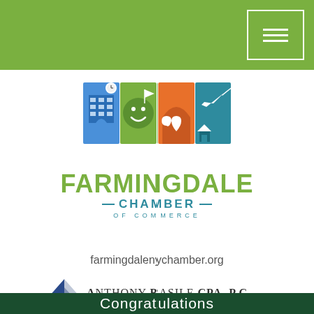[Figure (logo): Farmingdale Chamber of Commerce logo with colorful illustrated icons (building, smiley face with clock, archway with heart, airplane and house) above bold green FARMINGDALE text and teal CHAMBER OF COMMERCE text]
farmingdalenychamber.org
[Figure (logo): Anthony Basile CPA, P.C. logo with blue diamond/kite shape on left and serif text ANTHONY BASILE CPA, P.C. with tagline Intelligent Financial Guidance.]
Congratulations